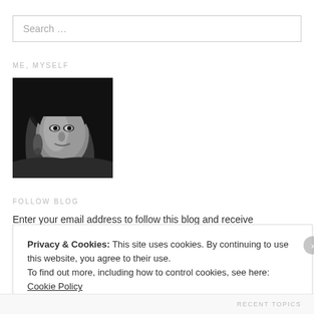Search …
ME, MYSELF
[Figure (photo): Black and white portrait photo of a woman with dark hair and earrings, looking slightly to the side]
FOLLOW BLOG
Enter your email address to follow this blog and receive notifications of new
Privacy & Cookies: This site uses cookies. By continuing to use this website, you agree to their use.
To find out more, including how to control cookies, see here: Cookie Policy
Close and accept
RECENT TOPICS